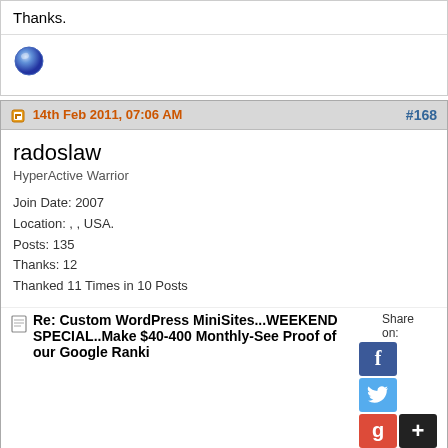Thanks.
[Figure (other): Blue orb/sphere icon]
14th Feb 2011, 07:06 AM   #168
radoslaw
HyperActive Warrior
Join Date: 2007
Location: , , USA.
Posts: 135
Thanks: 12
Thanked 11 Times in 10 Posts
Re: Custom WordPress MiniSites...WEEKEND SPECIAL..Make $40-400 Monthly-See Proof of our Google Ranki
Hi,

Are the articles original or some spun version as one of your clients claimed to be?